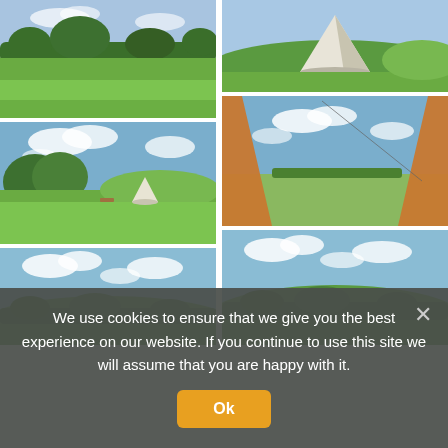[Figure (photo): Green open field with trees in the background, sunny day]
[Figure (photo): Bell tent / glamping tent exterior seen from a distance across open green field with blue sky and clouds]
[Figure (photo): View from inside an orange/brown tent looking out across a sunny open field with blue sky and clouds]
[Figure (photo): Open field with a white bell tent in the distance, trees and blue sky with clouds]
[Figure (photo): Rolling green countryside panoramic landscape view with trees and cloudy blue sky]
[Figure (photo): Rolling green countryside panoramic landscape view similar to adjacent photo]
We use cookies to ensure that we give you the best experience on our website. If you continue to use this site we will assume that you are happy with it.